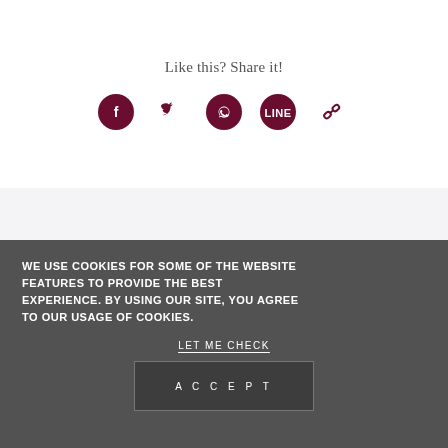Like this? Share it!
[Figure (infographic): Row of five social share icons: Facebook, Twitter, WhatsApp, LINE, and a link/chain icon, all in dark maroon/burgundy color]
WE USE COOKIES FOR SOME OF THE WEBSITE FEATURES TO PROVIDE THE BEST EXPERIENCE. BY USING OUR SITE, YOU AGREE TO OUR USAGE OF COOKIES.
LET ME CHECK
ACCEPT